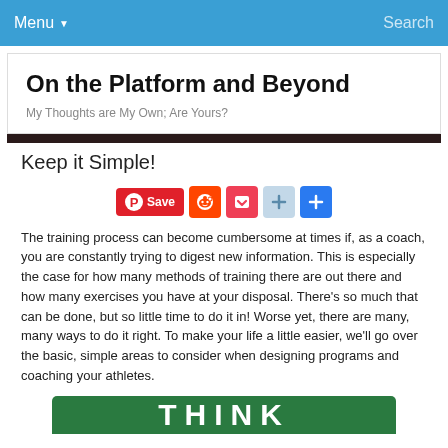Menu ▾   Search
On the Platform and Beyond
My Thoughts are My Own; Are Yours?
Keep it Simple!
[Figure (infographic): Social share buttons row: Pinterest Save, Reddit, Pocket, AddThis, Share]
The training process can become cumbersome at times if, as a coach, you are constantly trying to digest new information. This is especially the case for how many methods of training there are out there and how many exercises you have at your disposal. There's so much that can be done, but so little time to do it in! Worse yet, there are many, many ways to do it right. To make your life a little easier, we'll go over the basic, simple areas to consider when designing programs and coaching your athletes.
[Figure (photo): Bottom portion of a green sign with white letters spelling THINK]